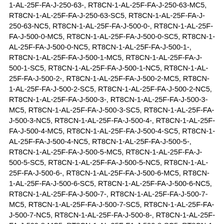1-AL-25F-FA-J-250-63-, RT8CN-1-AL-25F-FA-J-250-63-MC5, RT8CN-1-AL-25F-FA-J-250-63-SC5, RT8CN-1-AL-25F-FA-J-250-63-NC5, RT8CN-1-AL-25F-FA-J-500-0-, RT8CN-1-AL-25F-FA-J-500-0-MC5, RT8CN-1-AL-25F-FA-J-500-0-SC5, RT8CN-1-AL-25F-FA-J-500-0-NC5, RT8CN-1-AL-25F-FA-J-500-1-, RT8CN-1-AL-25F-FA-J-500-1-MC5, RT8CN-1-AL-25F-FA-J-500-1-SC5, RT8CN-1-AL-25F-FA-J-500-1-NC5, RT8CN-1-AL-25F-FA-J-500-2-, RT8CN-1-AL-25F-FA-J-500-2-MC5, RT8CN-1-AL-25F-FA-J-500-2-SC5, RT8CN-1-AL-25F-FA-J-500-2-NC5, RT8CN-1-AL-25F-FA-J-500-3-, RT8CN-1-AL-25F-FA-J-500-3-MC5, RT8CN-1-AL-25F-FA-J-500-3-SC5, RT8CN-1-AL-25F-FA-J-500-3-NC5, RT8CN-1-AL-25F-FA-J-500-4-, RT8CN-1-AL-25F-FA-J-500-4-MC5, RT8CN-1-AL-25F-FA-J-500-4-SC5, RT8CN-1-AL-25F-FA-J-500-4-NC5, RT8CN-1-AL-25F-FA-J-500-5-, RT8CN-1-AL-25F-FA-J-500-5-MC5, RT8CN-1-AL-25F-FA-J-500-5-SC5, RT8CN-1-AL-25F-FA-J-500-5-NC5, RT8CN-1-AL-25F-FA-J-500-6-, RT8CN-1-AL-25F-FA-J-500-6-MC5, RT8CN-1-AL-25F-FA-J-500-6-SC5, RT8CN-1-AL-25F-FA-J-500-6-NC5, RT8CN-1-AL-25F-FA-J-500-7-, RT8CN-1-AL-25F-FA-J-500-7-MC5, RT8CN-1-AL-25F-FA-J-500-7-SC5, RT8CN-1-AL-25F-FA-J-500-7-NC5, RT8CN-1-AL-25F-FA-J-500-8-, RT8CN-1-AL-25F-FA-J-500-8-MC5, RT8CN-1-AL-25F-FA-J-500-8-SC5, RT8CN-1-AL-25F-FA-J-500-8-NC5, RT8CN-1-AL-25F-FA-J-500-9-, RT8CN-1-AL-25F-FA-J-500-